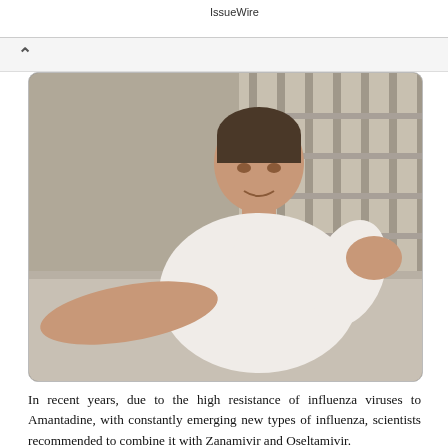IssueWire
[Figure (photo): A man in a white shirt pressing his hand to his chest appearing to be in pain or distress, leaning against a concrete ledge outdoors with metal bars in the background]
In recent years, due to the high resistance of influenza viruses to Amantadine, with constantly emerging new types of influenza, scientists recommended to combine it with Zanamivir and Oseltamivir.
Cytomegalovirus pneumonia usually appears in people who have disorders and weakened immune system. The causative agent is a herpes-virus-CMV. Many people are in contact with the virus